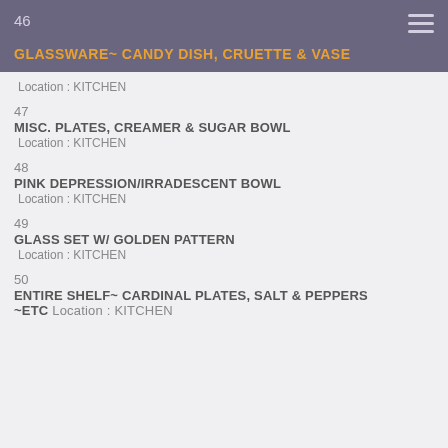46 GLASSWARE~ CANDY DISH, CRUETTE & VASE
46
GLASSWARE~ CANDY DISH, CRUETTE & VASE
Location: KITCHEN
47
MISC. PLATES, CREAMER & SUGAR BOWL
Location: KITCHEN
48
PINK DEPRESSION/IRRADESCENT BOWL
Location: KITCHEN
49
GLASS SET W/ GOLDEN PATTERN
Location: KITCHEN
50
ENTIRE SHELF~ CARDINAL PLATES, SALT & PEPPERS ~ETC Location: KITCHEN